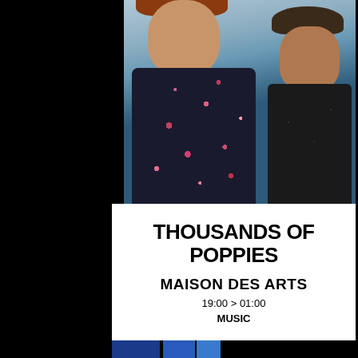[Figure (photo): Photo of two musicians (a woman and a man) standing outdoors with greenery in the background. The woman is in front wearing a dark floral top, and the man is behind her wearing a dark polka-dot shirt.]
THOUSANDS OF POPPIES
MAISON DES ARTS
19:00 > 01:00
MUSIC